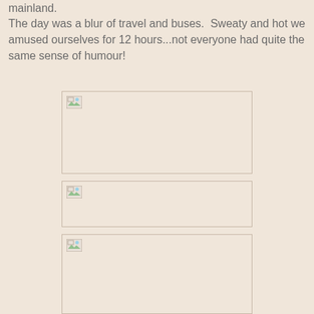mainland.
The day was a blur of travel and buses.  Sweaty and hot we amused ourselves for 12 hours...not everyone had quite the same sense of humour!
[Figure (photo): Large image placeholder (broken/unloaded image), first photo]
[Figure (photo): Medium image placeholder (broken/unloaded image), second photo]
[Figure (photo): Partial image placeholder (broken/unloaded image), third photo at bottom]